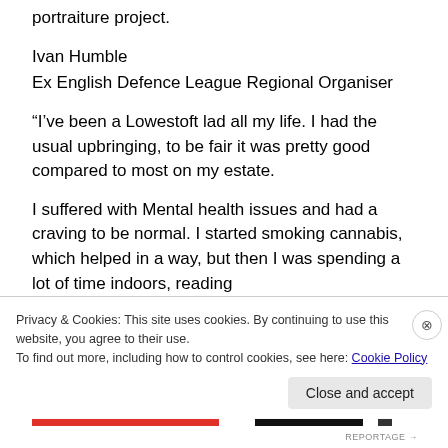portraiture project.
Ivan Humble
Ex English Defence League Regional Organiser
“I’ve been a Lowestoft lad all my life. I had the usual upbringing, to be fair it was pretty good compared to most on my estate.
I suffered with Mental health issues and had a craving to be normal. I started smoking cannabis, which helped in a way, but then I was spending a lot of time indoors, reading
Privacy & Cookies: This site uses cookies. By continuing to use this website, you agree to their use.
To find out more, including how to control cookies, see here: Cookie Policy